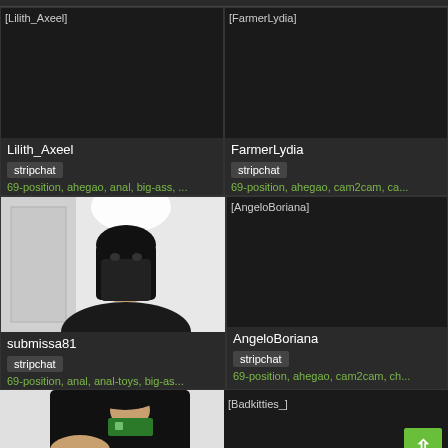[Figure (screenshot): Broken image placeholder for Lilith_Axeel webcam thumbnail]
[Figure (screenshot): Broken image placeholder for FarmerLydia webcam thumbnail]
Lilith_Axeel
stripchat
69-position, ahegao, anal, big-ass, ...
FarmerLydia
stripchat
69-position, ahegao, cam2cam, ca...
[Figure (photo): Photo of submissa81 wearing black mask, dark hair, webcam feed]
[Figure (screenshot): Broken image placeholder for AngeloBoriana webcam thumbnail]
submissa81
stripchat
69-position, anal, anal-toys, big-as...
AngeloBoriana
stripchat
69-position, ahegao, cam2cam, ch...
[Figure (photo): Partial photo of person at bottom left]
[Figure (screenshot): Broken image placeholder for Badkitties_ webcam thumbnail]